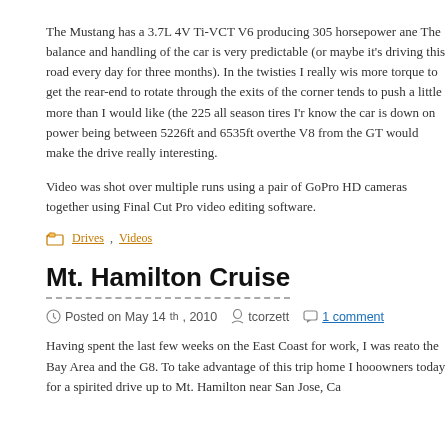The Mustang has a 3.7L 4V Ti-VCT V6 producing 305 horsepower and The balance and handling of the car is very predictable (or maybe it's driving this road every day for three months). In the twisties I really wi more torque to get the rear-end to rotate through the exits of the corne tends to push a little more than I would like (the 225 all season tires I' know the car is down on power being between 5226ft and 6535ft over the V8 from the GT would make the drive really interesting.
Video was shot over multiple runs using a pair of GoPro HD cameras together using Final Cut Pro video editing software.
Drives, Videos
Mt. Hamilton Cruise
Posted on May 14th, 2010   tcorzett   1 comment
Having spent the last few weeks on the East Coast for work, I was rea to the Bay Area and the G8. To take advantage of this trip home I hoo owners today for a spirited drive up to Mt. Hamilton near San Jose, Ca